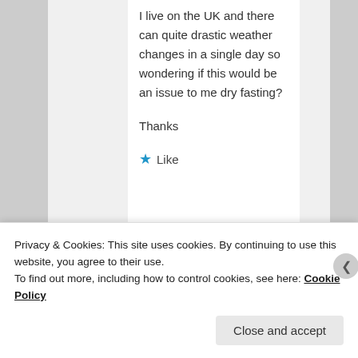I live on the UK and there can quite drastic weather changes in a single day so wondering if this would be an issue to me dry fasting?

Thanks
[Figure (other): Star icon with Like label — a like/reaction button with a blue star and the word 'Like']
Privacy & Cookies: This site uses cookies. By continuing to use this website, you agree to their use. To find out more, including how to control cookies, see here: Cookie Policy